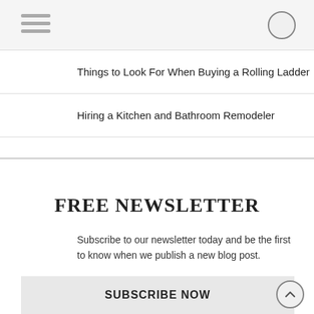Navigation bar with hamburger menu and circle button
Things to Look For When Buying a Rolling Ladder
Hiring a Kitchen and Bathroom Remodeler
FREE NEWSLETTER
Subscribe to our newsletter today and be the first to know when we publish a new blog post.
Email Address
SUBSCRIBE NOW